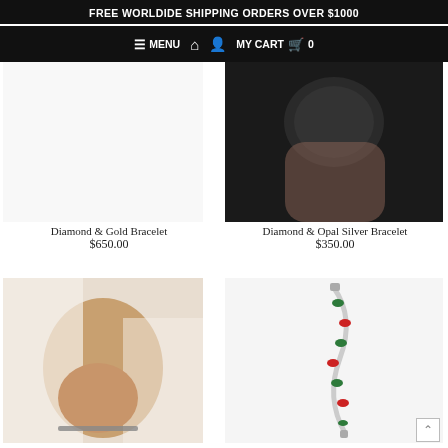FREE WORLDIDE SHIPPING ORDERS OVER $1000
MENU  MY CART  0
Diamond & Gold Bracelet
$650.00
Diamond & Opal Silver Bracelet
$350.00
[Figure (photo): Woman wearing a bracelet, white/beige clothing background]
Emerald & Diamond Silver
[Figure (photo): Silver bracelet with green and red gemstones on white background]